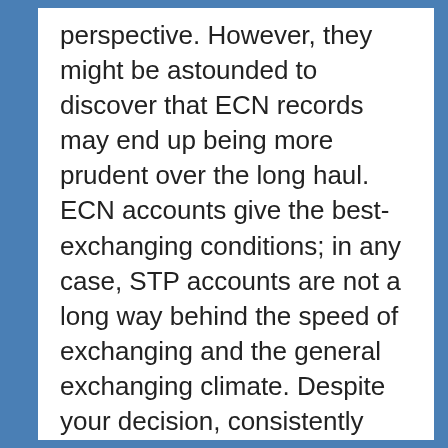perspective. However, they might be astounded to discover that ECN records may end up being more prudent over the long haul. ECN accounts give the best-exchanging conditions; in any case, STP accounts are not a long way behind the speed of exchanging and the general exchanging climate. Despite your decision, consistently pick a Forex intermediary that a legitimate administrative office directs and guarantee that the agent of your decision has a decent standing on the lookout. Straight Through Processing or STP Brokers are sending merchants’ orders straightforwardly to the market without